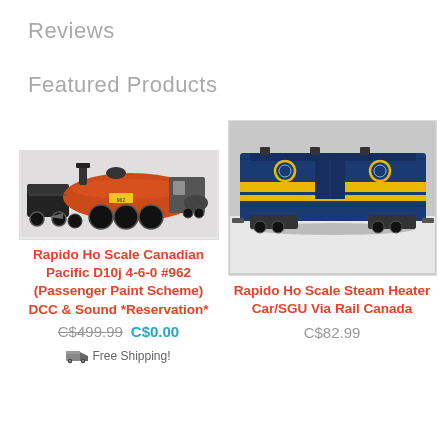Reviews
Featured Products
[Figure (photo): HO scale model steam locomotive - Canadian Pacific D10j 4-6-0 #962 in passenger paint scheme, side view showing orange boiler and black tender]
Rapido Ho Scale Canadian Pacific D10j 4-6-0 #962 (Passenger Paint Scheme) DCC & Sound *Reservation*
C$499.99  C$0.00
Free Shipping!
[Figure (photo): HO scale model steam heater car / SGU in Via Rail Canada blue and yellow livery, side view on white surface]
Rapido Ho Scale Steam Heater Car/SGU Via Rail Canada
C$82.99